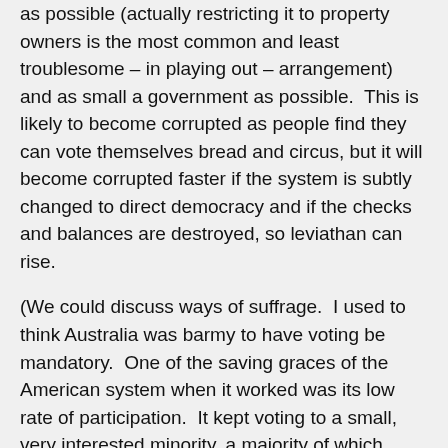as possible (actually restricting it to property owners is the most common and least troublesome – in playing out – arrangement) and as small a government as possible.  This is likely to become corrupted as people find they can vote themselves bread and circus, but it will become corrupted faster if the system is subtly changed to direct democracy and if the checks and balances are destroyed, so leviathan can rise.
(We could discuss ways of suffrage.  I used to think Australia was barmy to have voting be mandatory.  One of the saving graces of the American system when it worked was its low rate of participation.  It kept voting to a small, very interested minority, a majority of which would either take the trouble to inform themselves, or vote with the RIGHT instincts – right instincts? – well, yes, a tendency not to go overboard on new new things was one of those.